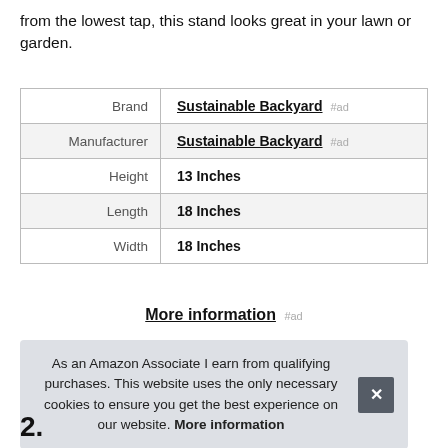from the lowest tap, this stand looks great in your lawn or garden.
| Brand | Sustainable Backyard #ad |
| Manufacturer | Sustainable Backyard #ad |
| Height | 13 Inches |
| Length | 18 Inches |
| Width | 18 Inches |
More information #ad
As an Amazon Associate I earn from qualifying purchases. This website uses the only necessary cookies to ensure you get the best experience on our website. More information
2.